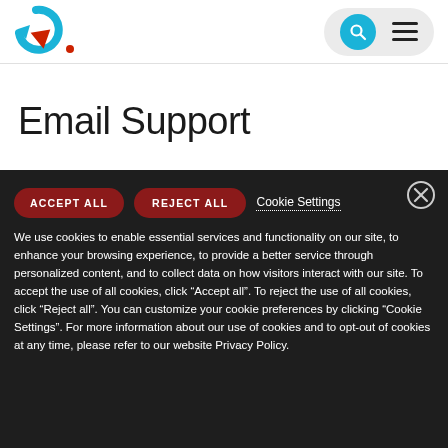[Figure (logo): Globalstar logo: blue circular arrow with red arrow/chevron pointing down-right]
Email Support
We use cookies to enable essential services and functionality on our site, to enhance your browsing experience, to provide a better service through personalized content, and to collect data on how visitors interact with our site. To accept the use of all cookies, click “Accept all”. To reject the use of all cookies, click “Reject all”. You can customize your cookie preferences by clicking “Cookie Settings”. For more information about our use of cookies and to opt-out of cookies at any time, please refer to our website Privacy Policy.